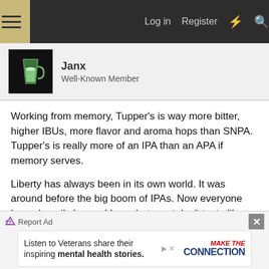Log in  Register
Janx
Well-Known Member
Working from memory, Tupper's is way more bitter, higher IBUs, more flavor and aroma hops than SNPA. Tupper's is really more of an IPA than an APA if memory serves.

Liberty has always been in its own world. It was around before the big boom of IPAs. Now everyone has a heavily hopped beer, but most don't taste like Liberty. I remember tasting Liberty 10 or more years ago and it was one of the first American floral, hoppy beers I had had at that point. I'd say it's more in the
Report Ad
[Figure (screenshot): Advertisement banner: Listen to Veterans share their inspiring mental health stories. Make The Connection.]